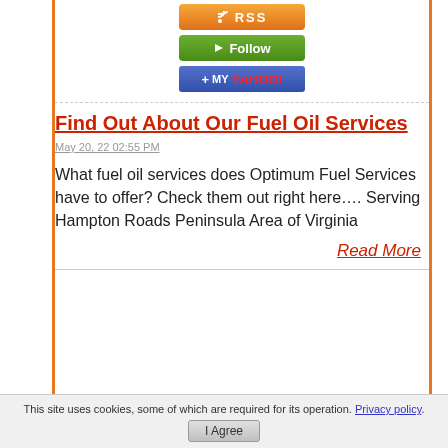[Figure (screenshot): Three subscription buttons: orange RSS button, green Follow button, and blue My Yahoo! button]
Find Out About Our Fuel Oil Services
May 20, 22 02:55 PM
What fuel oil services does Optimum Fuel Services have to offer? Check them out right here…. Serving Hampton Roads Peninsula Area of Virginia
Read More
This site uses cookies, some of which are required for its operation. Privacy policy.